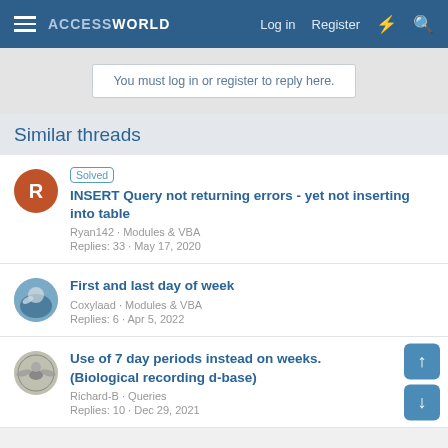ACCESSWORLD — Log in | Register
You must log in or register to reply here.
Similar threads
[Solved] INSERT Query not returning errors - yet not inserting into table
Ryan142 · Modules & VBA
Replies: 33 · May 17, 2020
First and last day of week
Coxylaad · Modules & VBA
Replies: 6 · Apr 5, 2022
Use of 7 day periods instead on weeks. (Biological recording d-base)
Richard-B · Queries
Replies: 10 · Dec 29, 2021